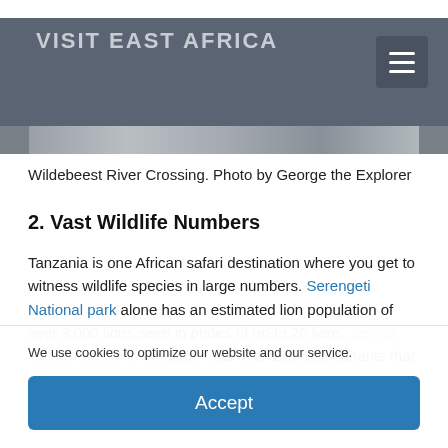VISIT EAST AFRICA
[Figure (photo): Partial view of a wildebeest river crossing photo strip at the top of the content area]
Wildebeest River Crossing. Photo by George the Explorer
2. Vast Wildlife Numbers
Tanzania is one African safari destination where you get to witness wildlife species in large numbers. Serengeti National park alone has an estimated lion population of over 3,000 lions seen in prides of up-to 20 lions. Selous Game reserve in the south has over 15,501 elephants that
We use cookies to optimize our website and our service.
Accept